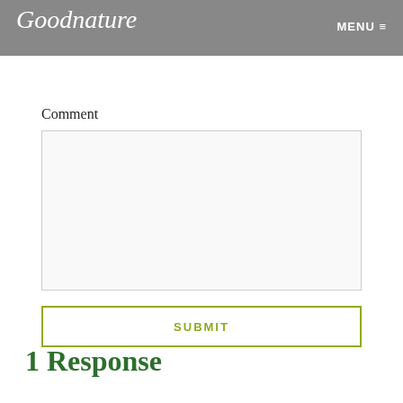Goodnature   MENU
Save my name, email, and website in this browser for the next time I comment.
Comment
1 Response